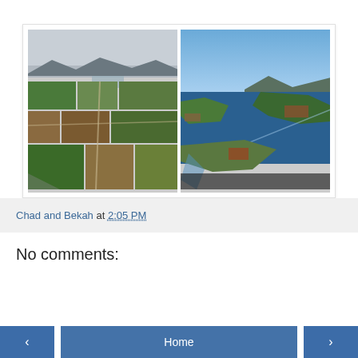[Figure (photo): Two side-by-side aerial photographs. Left: aerial view of farmland with fields, roads, and distant mountains under overcast sky. Right: aerial view of water body (bay or lake) with islands and land masses visible under clear blue sky.]
Chad and Bekah at 2:05 PM
No comments:
Post a Comment